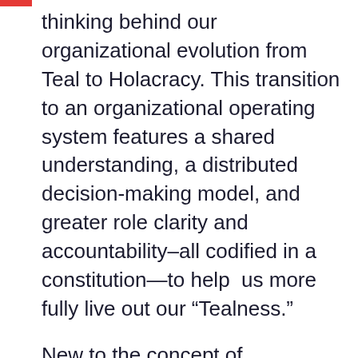thinking behind our organizational evolution from Teal to Holacracy. This transition to an organizational operating system features a shared understanding, a distributed decision-making model, and greater role clarity and accountability–all codified in a constitution—to help  us more fully live out our “Tealness.”
New to the concept of Holacracy? You can learn about the organizational model here and watch a panel discussion featuring 4 leaders from self-